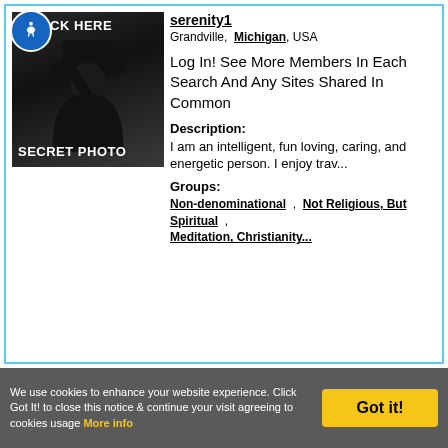[Figure (photo): Secret photo placeholder: silhouette of a person wearing a hat, with accessibility icon and CLICK HERE text overlay. Text SECRET PHOTO at bottom.]
serenity1
Grandville, Michigan, USA
Log In! See More Members In Each Search And Any Sites Shared In Common
Description:
I am an intelligent, fun loving, caring, and energetic person. I enjoy trav...
Groups:
Non-denominational , Not Religious, But Spiritual , Meditation, Christianity...
We use cookies to enhance your website experience. Click Got It! to close this notice & continue your visit agreeing to cookies usage More info